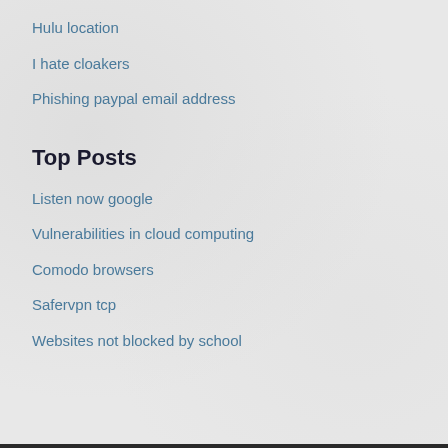Hulu location
I hate cloakers
Phishing paypal email address
Top Posts
Listen now google
Vulnerabilities in cloud computing
Comodo browsers
Safervpn tcp
Websites not blocked by school